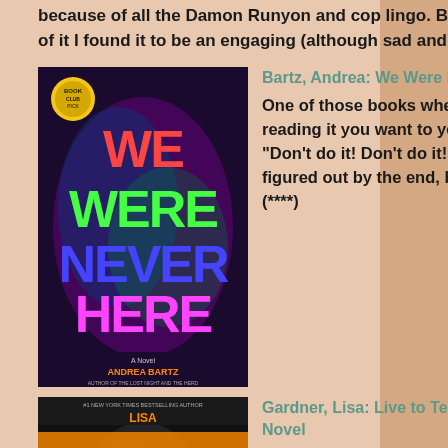because of all the Damon Runyon and cop lingo. But once I got into the rhythm of it I found it to be an engaging (although sad and brutal) story. (***)
[Figure (photo): Book cover of 'We Were Never Here: A Novel' by Andrea Bartz]
Bartz, Andrea: We Were Never Here: A Novel
One of those books where all the while you're reading it you want to yell at the lead character, "Don't do it! Don't do it!" Well I didn't have it all figured out by the end, but I was on the right track. (****)
[Figure (photo): Book cover of 'Live to Tell: A Detective D. D. Warren Novel' by Lisa Gardner]
Gardner, Lisa: Live to Tell: A Detective D. D. Warren Novel
A real page turner. Actually I was busy turning pages backwards and forwards because I